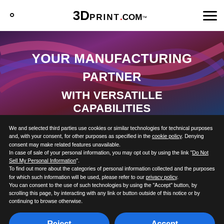3DPrint.com
[Figure (illustration): Hero banner with colorful abstract background and text: YOUR MANUFACTURING PARTNER WITH VERSATILLE CAPABILITIES]
We and selected third parties use cookies or similar technologies for technical purposes and, with your consent, for other purposes as specified in the cookie policy. Denying consent may make related features unavailable. In case of sale of your personal information, you may opt out by using the link "Do Not Sell My Personal Information". To find out more about the categories of personal information collected and the purposes for which such information will be used, please refer to our privacy policy. You can consent to the use of such technologies by using the "Accept" button, by scrolling this page, by interacting with any link or button outside of this notice or by continuing to browse otherwise.